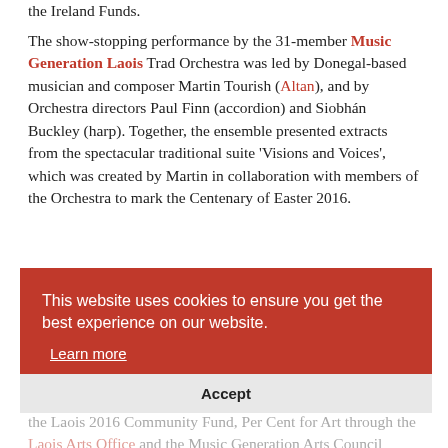the Ireland Funds.
The show-stopping performance by the 31-member Music Generation Laois Trad Orchestra was led by Donegal-based musician and composer Martin Tourish (Altan), and by Orchestra directors Paul Finn (accordion) and Siobhán Buckley (harp). Together, the ensemble presented extracts from the spectacular traditional suite 'Visions and Voices', which was created by Martin in collaboration with members of the Orchestra to mark the Centenary of Easter 2016.
Taking to the stage performing on the night, which brought the best to the fore on on!
This website uses cookies to ensure you get the best experience on our website.
Learn more
Accept
The original commission, which reflects on the events leading up to and including the 1916 Rising in Ireland, was funded by the Laois 2016 Community Fund, Per Cent for Art through the Laois Arts Office and the Music Generation Arts Council Partnership. The piece culminates with a great